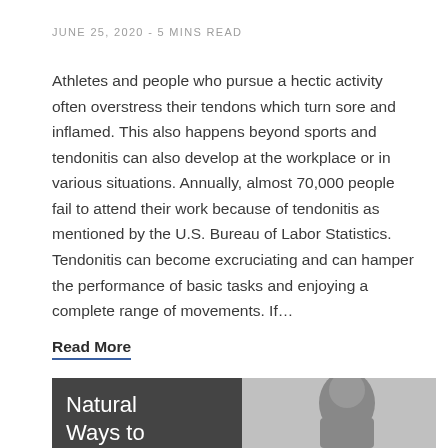JUNE 25, 2020  -  5 MINS READ
Athletes and people who pursue a hectic activity often overstress their tendons which turn sore and inflamed. This also happens beyond sports and tendonitis can also develop at the workplace or in various situations. Annually, almost 70,000 people fail to attend their work because of tendonitis as mentioned by the U.S. Bureau of Labor Statistics. Tendonitis can become excruciating and can hamper the performance of basic tasks and enjoying a complete range of movements. If…
Read More
[Figure (photo): Black and white photo of a young woman with long dark hair, partially visible, alongside a dark overlay box with text 'Natural Ways to']